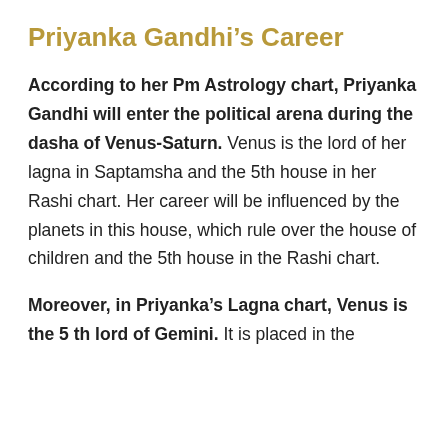Priyanka Gandhi's Career
According to her Pm Astrology chart, Priyanka Gandhi will enter the political arena during the dasha of Venus-Saturn. Venus is the lord of her lagna in Saptamsha and the 5th house in her Rashi chart. Her career will be influenced by the planets in this house, which rule over the house of children and the 5th house in the Rashi chart.
Moreover, in Priyanka's Lagna chart, Venus is the 5 th lord of Gemini. It is placed in the